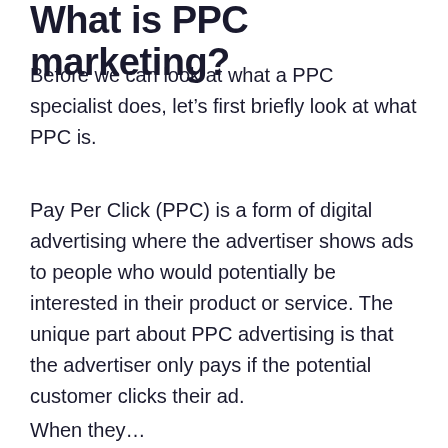What is PPC marketing?
Before we can look at what a PPC specialist does, let’s first briefly look at what PPC is.
Pay Per Click (PPC) is a form of digital advertising where the advertiser shows ads to people who would potentially be interested in their product or service. The unique part about PPC advertising is that the advertiser only pays if the potential customer clicks their ad.
When they…